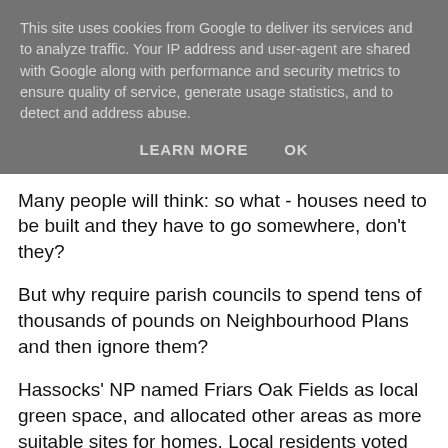This site uses cookies from Google to deliver its services and to analyze traffic. Your IP address and user-agent are shared with Google along with performance and security metrics to ensure quality of service, generate usage statistics, and to detect and address abuse.
LEARN MORE   OK
Many people will think: so what - houses need to be built and they have to go somewhere, don't they?
But why require parish councils to spend tens of thousands of pounds on Neighbourhood Plans and then ignore them?
Hassocks' NP named Friars Oak Fields as local green space, and allocated other areas as more suitable sites for homes. Local residents voted heavily against Friars Oak Fields being a housing site because they are a notorious floodplain, are next to a